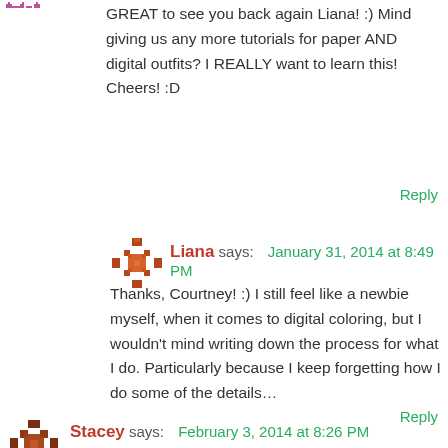GREAT to see you back again Liana! :) Mind giving us any more tutorials for paper AND digital outfits? I REALLY want to learn this! Cheers! :D
Reply
Liana says: January 31, 2014 at 8:49 PM
Thanks, Courtney! :) I still feel like a newbie myself, when it comes to digital coloring, but I wouldn't mind writing down the process for what I do. Particularly because I keep forgetting how I do some of the details…
Reply
Stacey says: February 3, 2014 at 8:26 PM